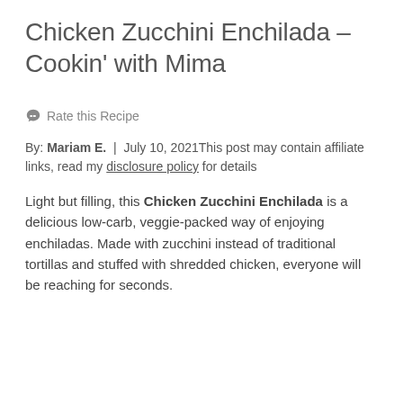Chicken Zucchini Enchilada – Cookin' with Mima
Rate this Recipe
By: Mariam E.  |  July 10, 2021This post may contain affiliate links, read my disclosure policy for details
Light but filling, this Chicken Zucchini Enchilada is a delicious low-carb, veggie-packed way of enjoying enchiladas. Made with zucchini instead of traditional tortillas and stuffed with shredded chicken, everyone will be reaching for seconds.